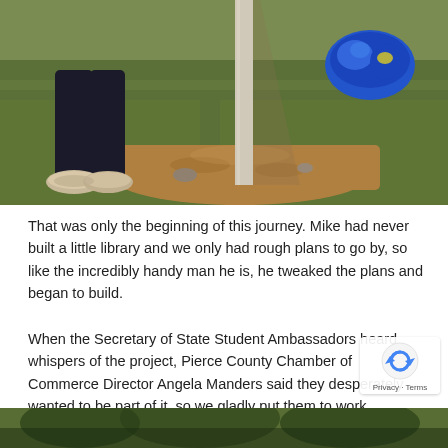[Figure (photo): Outdoor photo showing a person's legs and feet (wearing sneakers) standing next to a vertical post/pole in a dirt patch surrounded by grass. A blue bag is visible in the upper right corner on the grass.]
That was only the beginning of this journey. Mike had never built a little library and we only had rough plans to go by, so like the incredibly handy man he is, he tweaked the plans and began to build.
When the Secretary of State Student Ambassadors heard whispers of the project, Pierce County Chamber of Commerce Director Angela Manders said they desperately wanted to be part of it, so we gladly put them to work.
[Figure (photo): Partial photo at bottom of page showing outdoor greenery/trees.]